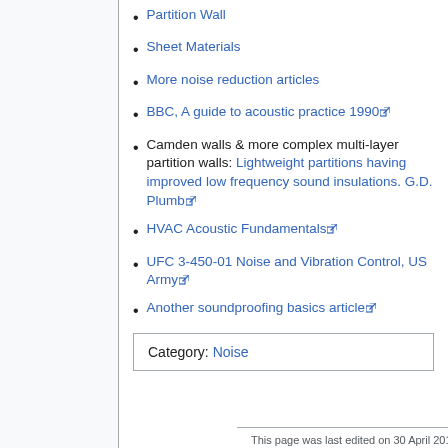Partition Wall
Sheet Materials
More noise reduction articles
BBC, A guide to acoustic practice 1990 [external link]
Camden walls & more complex multi-layer partition walls: Lightweight partitions having improved low frequency sound insulations. G.D. Plumb [external link]
HVAC Acoustic Fundamentals [external link]
UFC 3-450-01 Noise and Vibration Control, US Army [external link]
Another soundproofing basics article [external link]
Category: Noise
This page was last edited on 30 April 2014 ...